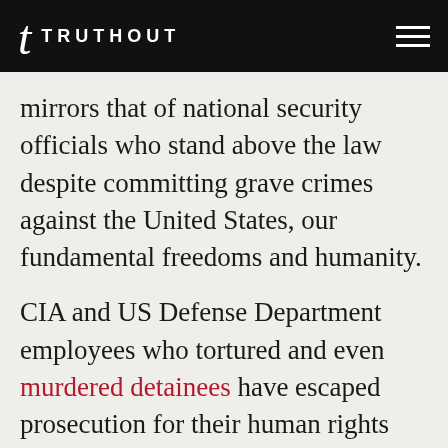TRUTHOUT
mirrors that of national security officials who stand above the law despite committing grave crimes against the United States, our fundamental freedoms and humanity.
CIA and US Defense Department employees who tortured and even murdered detainees have escaped prosecution for their human rights abuses. Even repeat offenders are walking free with government pensions and lifetime appellate judicial appointments.